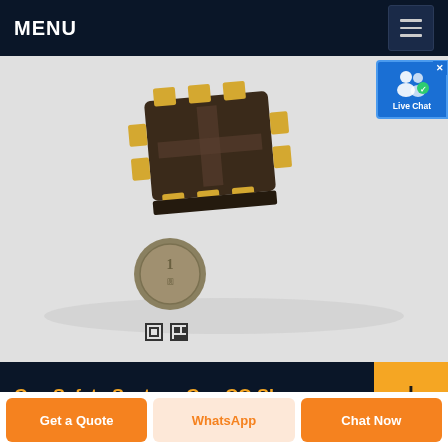MENU
[Figure (photo): A small SMD electronic component (ceramic package with gold contacts) shown next to a Chinese 1-yuan coin for size reference, with QR code symbols below the coin. Product appears to be a miniature gas sensor chip.]
Gas Safety System, Gas CO Sh...
The Gas Safety System ® provides a higher
Get a Quote
WhatsApp
Chat Now